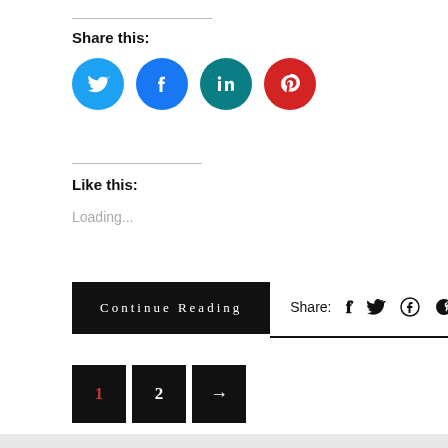Share this:
[Figure (illustration): Four social media share buttons as colored circles: Twitter (light blue), Facebook (blue), LinkedIn (teal), Pinterest (red)]
Like this:
Loading...
Continue Reading   Share:  f  w  P  G+
1  2  →